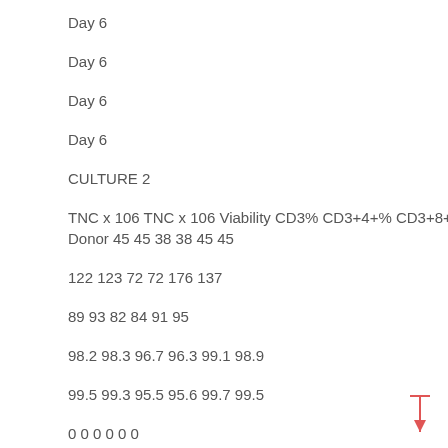Day 6
Day 6
Day 6
Day 6
CULTURE 2
TNC x 106 TNC x 106 Viability CD3% CD3+4+% CD3+8+% Donor 45 45 38 38 45 45
122 123 72 72 176 137
89 93 82 84 91 95
98.2 98.3 96.7 96.3 99.1 98.9
99.5 99.3 95.5 95.6 99.7 99.5
0 0 0 0 0 0